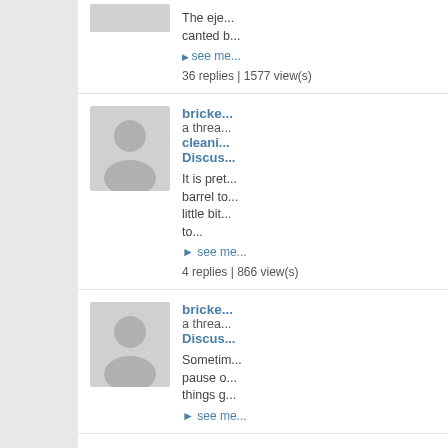The eje... canted b...
▶ see me...
36 replies | 1577 view(s)
[Figure (illustration): User avatar placeholder - gray silhouette]
bricke... a threa... cleani... Discus...
It is pret... barrel to... little bit... to...
▶ see me...
4 replies | 866 view(s)
[Figure (illustration): User avatar placeholder - gray silhouette]
bricke... a threa... Discus...
Sometim... pause o... things g...
▶ see me...